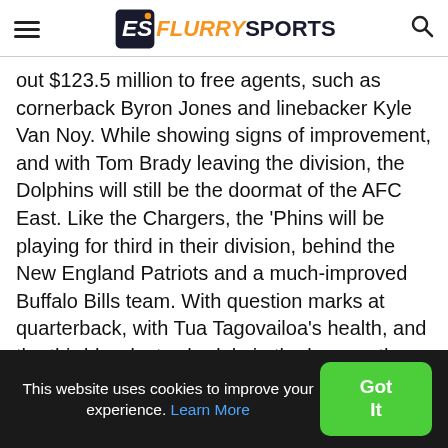Flurry Sports
out $123.5 million to free agents, such as cornerback Byron Jones and linebacker Kyle Van Noy. While showing signs of improvement, and with Tom Brady leaving the division, the Dolphins will still be the doormat of the AFC East. Like the Chargers, the ‘Phins will be playing for third in their division, behind the New England Patriots and a much-improved Buffalo Bills team. With question marks at quarterback, with Tua Tagovailoa’s health, and the third-hardest schedule in the league, the Dolphins did not do enough to convince me they
This website uses cookies to improve your experience. Learn More  Got It